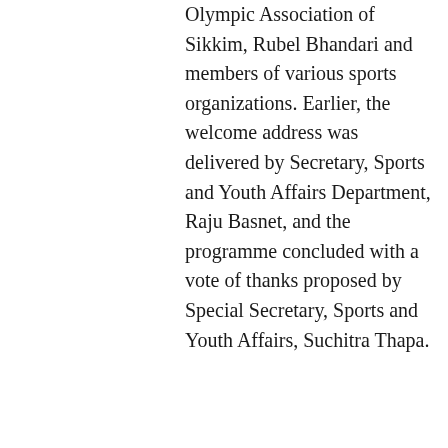Olympic Association of Sikkim, Rubel Bhandari and members of various sports organizations. Earlier, the welcome address was delivered by Secretary, Sports and Youth Affairs Department, Raju Basnet, and the programme concluded with a vote of thanks proposed by Special Secretary, Sports and Youth Affairs, Suchitra Thapa.
[Figure (infographic): Social media share icons: Facebook (f), Twitter (bird), LinkedIn (in)]
[Figure (infographic): Heart (like) icon in red outline, scroll-to-top circular button with upward chevron, blue circular more-options button with three dots, and a related article thumbnail with text 'LB Das sworn in as Minister']